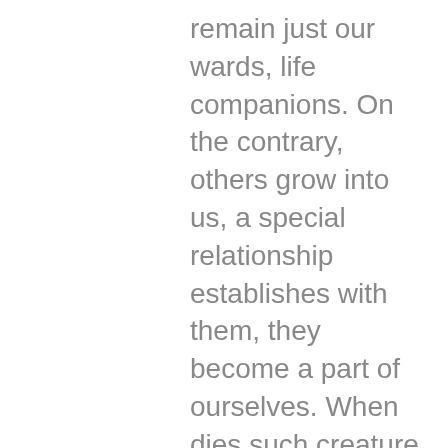remain just our wards, life companions. On the contrary, others grow into us, a special relationship establishes with them, they become a part of ourselves. When dies such creature (no matter human or animal), after, when with great difficulty, but still, finally, you realize this fact, becomes the feeling like a huge piece of you was torn out, and nothing will heal this wound ever. Yes, you slightly begin to get used to the emptiness, to the hole in your soul. But that's just a habit. It's not easier to feel this emptiness. And a guilt. No matter how good you showed yourself, how much love, tenderness and care